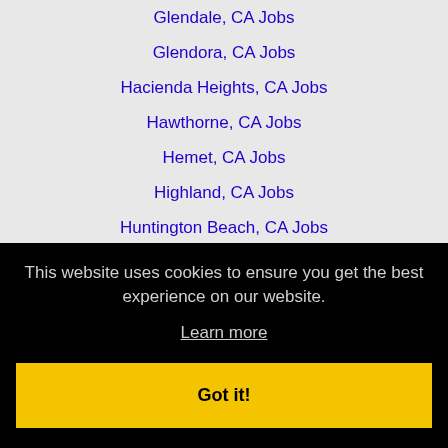Glendale, CA Jobs
Glendora, CA Jobs
Hacienda Heights, CA Jobs
Hawthorne, CA Jobs
Hemet, CA Jobs
Highland, CA Jobs
Huntington Beach, CA Jobs
Huntington Park, CA Jobs
Inglewood, CA Jobs
Irvine, CA Jobs
This website uses cookies to ensure you get the best experience on our website.
Learn more
Got it!